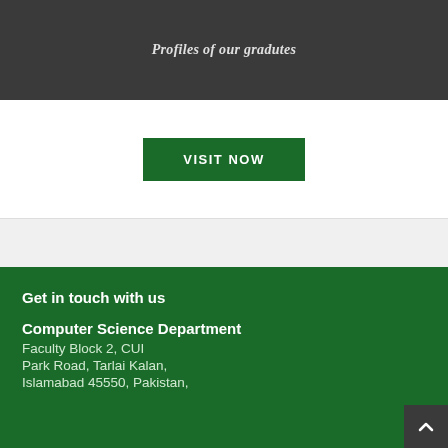Profiles of our gradutes
VISIT NOW
Get in touch with us
Computer Science Department
Faculty Block 2, CUI
Park Road, Tarlai Kalan,
Islamabad 45550, Pakistan,